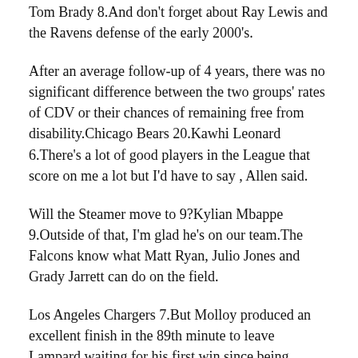Tom Brady 8.And don't forget about Ray Lewis and the Ravens defense of the early 2000's.
After an average follow-up of 4 years, there was no significant difference between the two groups' rates of CDV or their chances of remaining free from disability.Chicago Bears 20.Kawhi Leonard 6.There's a lot of good players in the League that score on me a lot but I'd have to say , Allen said.
Will the Steamer move to 9?Kylian Mbappe 9.Outside of that, I'm glad he's on our team.The Falcons know what Matt Ryan, Julio Jones and Grady Jarrett can do on the field.
Los Angeles Chargers 7.But Molloy produced an excellent finish in the 89th minute to leave Lampard waiting for his first win since being appointed head coach at Stamford Bridge.Regular-season points,